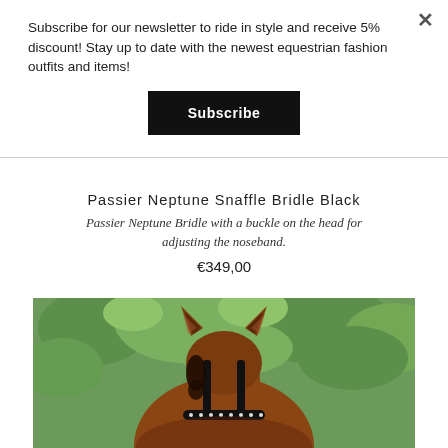Subscribe for our newsletter to ride in style and receive 5% discount! Stay up to date with the newest equestrian fashion outfits and items!
Subscribe
Passier Neptune Snaffle Bridle Black
Passier Neptune Bridle with a buckle on the head for adjusting the noseband.
€349,00
[Figure (photo): Close-up photo of a horse's head from behind showing its ears and a black bridle with rhinestone noseband, with green foliage in the background]